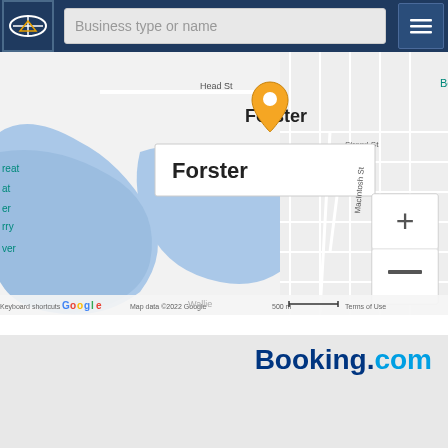[Figure (screenshot): Navigation bar with logo, search field 'Business type or name', and hamburger menu button on dark blue background]
[Figure (map): Google Maps view of Forster, Australia. Shows a location pin over Forster with a popup label 'Forster'. Map shows streets including Head St, Strand St, MacIntosh St. Blue water/lake areas visible. Zoom controls (+/-) on right side. Text visible: 'Bennetts', 'reat', 'at', 'er', 'rry', 'ver', 'Wallie'. Bottom bar: 'Keyboard shortcuts  Map data ©2022 Google  500 m  Terms of Use']
[Figure (logo): Booking.com logo in dark blue and cyan text]